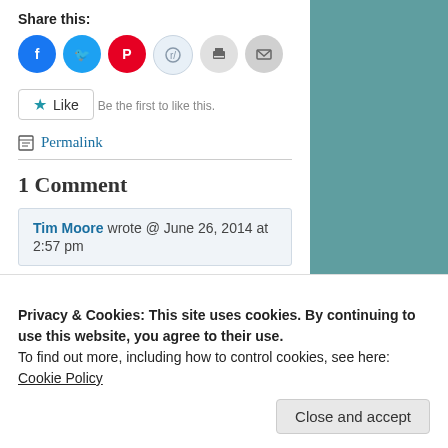Share this:
[Figure (illustration): Row of social sharing icon circles: Facebook (blue), Twitter (cyan), Pinterest (red), Reddit (light blue), Print (grey), Email (grey)]
Like
Be the first to like this.
Permalink
1 Comment
Tim Moore wrote @ June 26, 2014 at 2:57 pm
Thank you again, Robb, for your superior work highlighting our neighbor. Michael
Privacy & Cookies: This site uses cookies. By continuing to use this website, you agree to their use.
To find out more, including how to control cookies, see here:
Cookie Policy
Close and accept